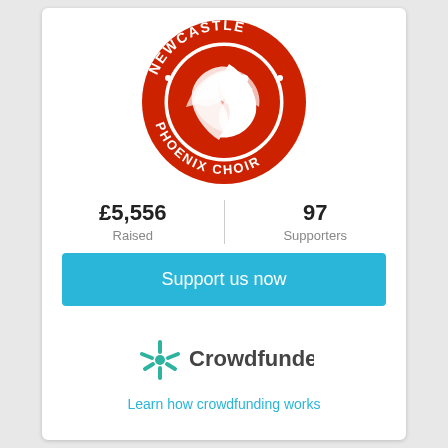[Figure (logo): Newcastle Phoenix Choir circular logo — red ring with white text 'NEWCASTLE' at top and 'PHOENIX CHOIR' at bottom, white bird/phoenix silhouette in center on red background]
£5,556
Raised
97
Supporters
Support us now
[Figure (logo): Crowdfunder logo — teal/green asterisk-like icon on left, 'Crowdfunder' text in dark grey on right]
Learn how crowdfunding works